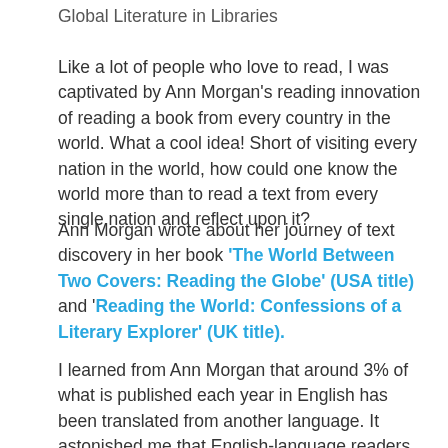Global Literature in Libraries
Like a lot of people who love to read, I was captivated by Ann Morgan's reading innovation of reading a book from every country in the world. What a cool idea! Short of visiting every nation in the world, how could one know the world more than to read a text from every single nation and reflect upon it?
Ann Morgan wrote about her journey of text discovery in her book ‘The World Between Two Covers: Reading the Globe’ (USA title) and ‘Reading the World: Confessions of a Literary Explorer’ (UK title).
I learned from Ann Morgan that around 3% of what is published each year in English has been translated from another language. It astonished me that English-language readers read so provincially (for comparison,